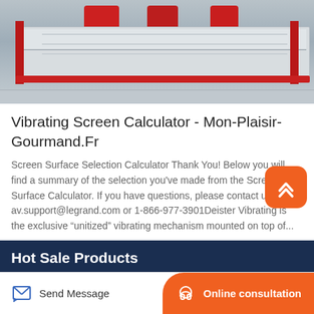[Figure (photo): Industrial vibrating screen machine, white and red metal frame, viewed from the side in a factory setting]
Vibrating Screen Calculator - Mon-Plaisir-Gourmand.Fr
Screen Surface Selection Calculator Thank You! Below you will find a summary of the selection you've made from the Screen Surface Calculator. If you have questions, please contact us at av.support@legrand.com or 1-866-977-3901Deister Vibrating is the exclusive “unitized” vibrating mechanism mounted on top of...
Hot Sale Products
Jaw crusher
Send Message
Online consultation